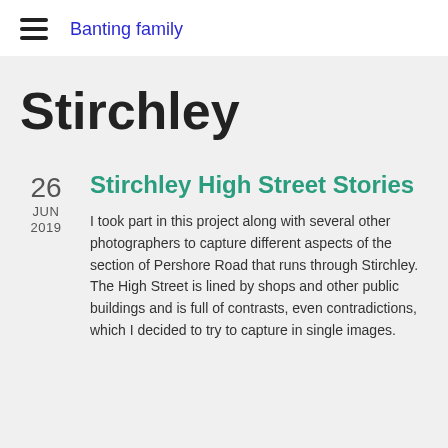Banting family
Stirchley
Stirchley High Street Stories
26 JUN 2019
I took part in this project along with several other photographers to capture different aspects of the section of Pershore Road that runs through Stirchley. The High Street is lined by shops and other public buildings and is full of contrasts, even contradictions, which I decided to try to capture in single images.